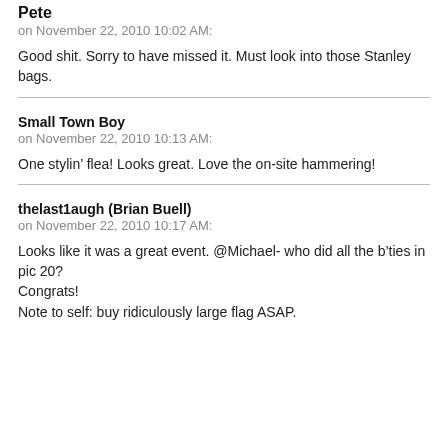Pete
on November 22, 2010 10:02 AM:
Good shit. Sorry to have missed it. Must look into those Stanley bags.
Small Town Boy
on November 22, 2010 10:13 AM:
One stylin’ flea! Looks great. Love the on-site hammering!
thelast1augh (Brian Buell)
on November 22, 2010 10:17 AM:
Looks like it was a great event. @Michael- who did all the b’ties in pic 20?
Congrats!
Note to self: buy ridiculously large flag ASAP.